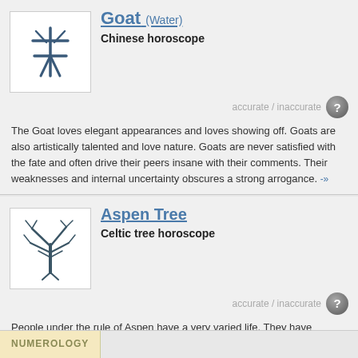[Figure (illustration): Chinese character for Goat in brushstroke style inside a white box]
Goat (Water)
Chinese horoscope
accurate / inaccurate
The Goat loves elegant appearances and loves showing off. Goats are also artistically talented and love nature. Goats are never satisfied with the fate and often drive their peers insane with their comments. Their weaknesses and internal uncertainty obscures a strong arrogance. -»
[Figure (illustration): Bare winter Aspen tree illustration inside a white box]
Aspen Tree
Celtic tree horoscope
accurate / inaccurate
People under the rule of Aspen have a very varied life. They have adventurous character that often goes hand in hand with diverse abilities. They can do everything with great enthusiasm; they are able to sacrifice everything for a thing or a person. They do everything with all their energy and vigour. -»
NUMEROLOGY